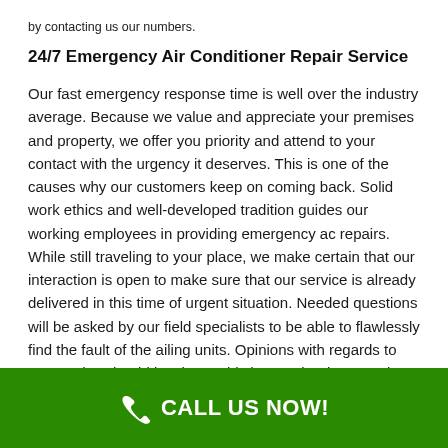by contacting us our numbers.
24/7 Emergency Air Conditioner Repair Service
Our fast emergency response time is well over the industry average. Because we value and appreciate your premises and property, we offer you priority and attend to your contact with the urgency it deserves. This is one of the causes why our customers keep on coming back. Solid work ethics and well-developed tradition guides our working employees in providing emergency ac repairs. While still traveling to your place, we make certain that our interaction is open to make sure that our service is already delivered in this time of urgent situation. Needed questions will be asked by our field specialists to be able to flawlessly find the fault of the ailing units. Opinions with regards to our service should last long. This is exactly what our Air Condition Pros of Bethel believes. We likewise use
CALL US NOW!